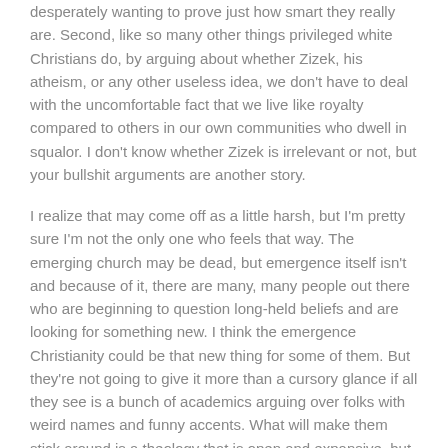desperately wanting to prove just how smart they really are. Second, like so many other things privileged white Christians do, by arguing about whether Zizek, his atheism, or any other useless idea, we don't have to deal with the uncomfortable fact that we live like royalty compared to others in our own communities who dwell in squalor. I don't know whether Zizek is irrelevant or not, but your bullshit arguments are another story.
I realize that may come off as a little harsh, but I'm pretty sure I'm not the only one who feels that way. The emerging church may be dead, but emergence itself isn't and because of it, there are many, many people out there who are beginning to question long-held beliefs and are looking for something new. I think the emergence Christianity could be that new thing for some of them. But they're not going to give it more than a cursory glance if all they see is a bunch of academics arguing over folks with weird names and funny accents. What will make them stick around is a theology that is open and expansive, but at the same time is one they can use everyday. Absurd arguments over people they've never heard of isn't going to cut it.